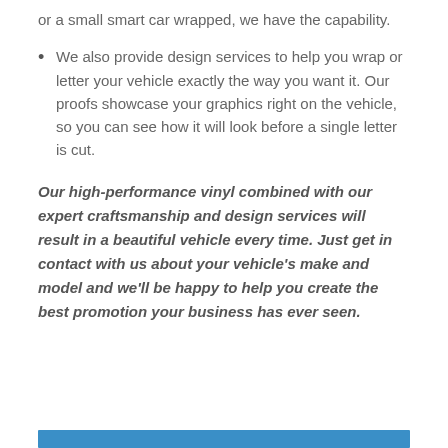or a small smart car wrapped, we have the capability.
We also provide design services to help you wrap or letter your vehicle exactly the way you want it. Our proofs showcase your graphics right on the vehicle, so you can see how it will look before a single letter is cut.
Our high-performance vinyl combined with our expert craftsmanship and design services will result in a beautiful vehicle every time. Just get in contact with us about your vehicle's make and model and we'll be happy to help you create the best promotion your business has ever seen.